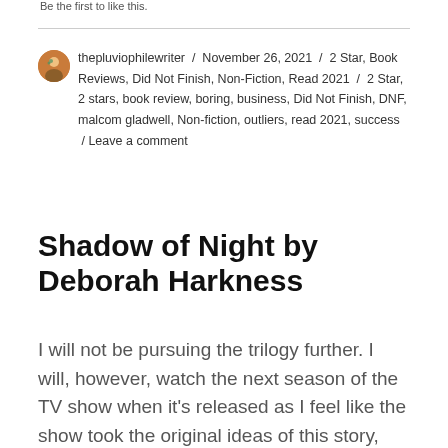Be the first to like this.
thepluviophilewriter / November 26, 2021 / 2 Star, Book Reviews, Did Not Finish, Non-Fiction, Read 2021 / 2 Star, 2 stars, book review, boring, business, Did Not Finish, DNF, malcom gladwell, Non-fiction, outliers, read 2021, success / Leave a comment
Shadow of Night by Deborah Harkness
I will not be pursuing the trilogy further. I will, however, watch the next season of the TV show when it's released as I feel like the show took the original ideas of this story, tidied it up,